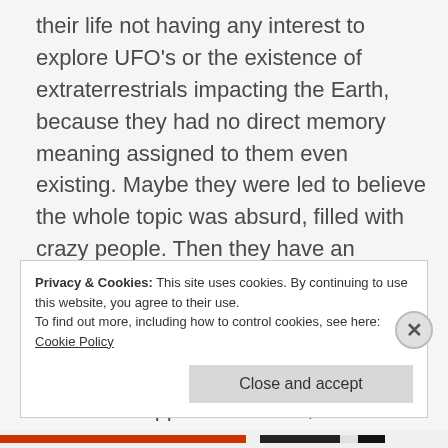their life not having any interest to explore UFO's or the existence of extraterrestrials impacting the Earth, because they had no direct memory meaning assigned to them even existing. Maybe they were led to believe the whole topic was absurd, filled with crazy people. Then they have an experience, such as a direct encounter with nonhuman entities, and now all of the sudden they have a deep interest in this topic. They want to understand what has happened to them, and now they comes across
Privacy & Cookies: This site uses cookies. By continuing to use this website, you agree to their use.
To find out more, including how to control cookies, see here: Cookie Policy
Close and accept